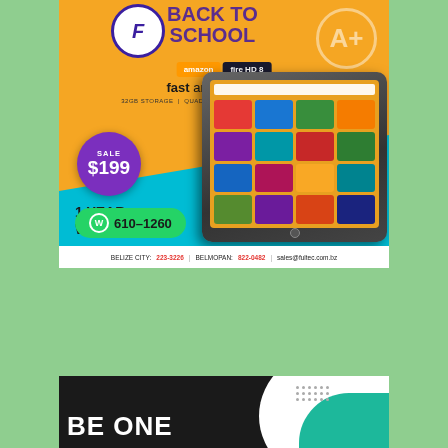[Figure (infographic): Back to School ad for Amazon Fire HD 8 tablet. Yellow background with blue section. Features logo, 'BACK TO SCHOOL' headline, Amazon Fire HD 8 branding, 'fast and responsive', specs: 32GB Storage, Quad-Core Processor, 2GB Memory. Sale price $199, 1 Year Warranty, WhatsApp 610-1260. Contact: Belize City 223-3226, Belmopan 822-0482, sales@fultec.com.bz]
[Figure (infographic): Bottom partial ad with black background, white arc, teal corner element, dots pattern, and 'BE ONE' bold white text]